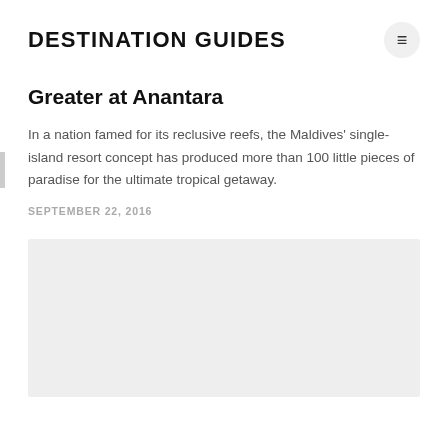DESTINATION GUIDES
Greater at Anantara
In a nation famed for its reclusive reefs, the Maldives' single-island resort concept has produced more than 100 little pieces of paradise for the ultimate tropical getaway.
SEPTEMBER 22, 2016
[Figure (photo): Large image placeholder (light gray rectangle) representing a photo of the Anantara resort or Maldives scenery]